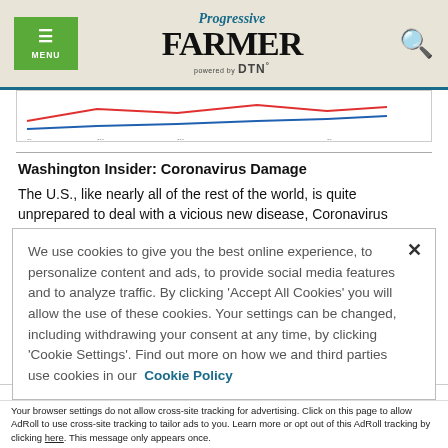Progressive FARMER powered by DTN
[Figure (continuous-plot): Partial chart/graph visible at top of article, with colored lines (red/blue) and axis labels]
Washington Insider: Coronavirus Damage
The U.S., like nearly all of the rest of the world, is quite unprepared to deal with a vicious new disease, Coronavirus (COVID-19), or even to know how it should be regarded. The New
We use cookies to give you the best online experience, to personalize content and ads, to provide social media features and to analyze traffic. By clicking 'Accept All Cookies' you will allow the use of these cookies. Your settings can be changed, including withdrawing your consent at any time, by clicking 'Cookie Settings'. Find out more on how we and third parties use cookies in our Cookie Policy
Accept and Close ✕
Your browser settings do not allow cross-site tracking for advertising. Click on this page to allow AdRoll to use cross-site tracking to tailor ads to you. Learn more or opt out of this AdRoll tracking by clicking here. This message only appears once.